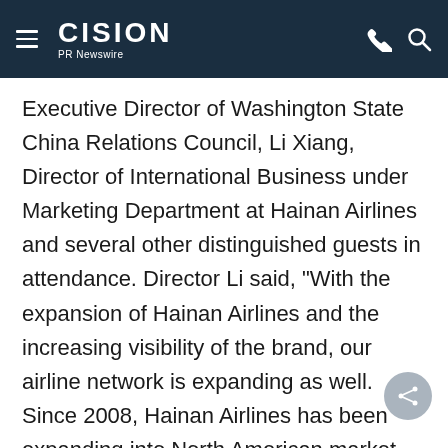CISION PR Newswire
Executive Director of Washington State China Relations Council, Li Xiang, Director of International Business under Marketing Department at Hainan Airlines and several other distinguished guests in attendance. Director Li said, "With the expansion of Hainan Airlines and the increasing visibility of the brand, our airline network is expanding as well. Since 2008, Hainan Airlines has been expanding into North American market. We hope that more and more passengers will choose Hainan Airlines when traveling between China and the United States. Hainan Airlines will be your loyal partner and the only choice for passengers seeking the highest standard of service."